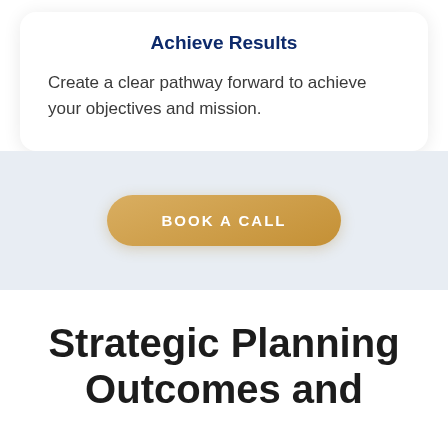Achieve Results
Create a clear pathway forward to achieve your objectives and mission.
[Figure (other): Gold rounded pill-shaped button with white uppercase text reading BOOK A CALL]
Strategic Planning Outcomes and